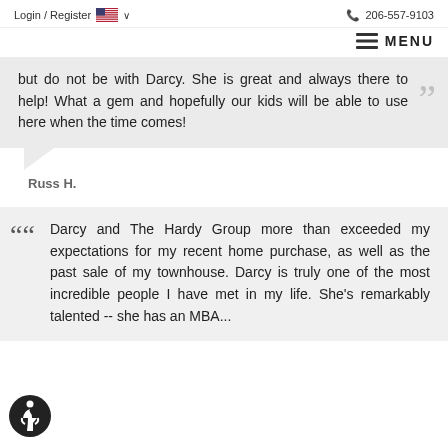Login / Register  🇺🇸 ∨    📞 206-557-9103
≡ MENU
but do not be with Darcy. She is great and always there to help! What a gem and hopefully our kids will be able to use here when the time comes!
Russ H.
Darcy and The Hardy Group more than exceeded my expectations for my recent home purchase, as well as the past sale of my townhouse. Darcy is truly one of the most incredible people I have met in my life. She's remarkably talented -- she has an MBA...